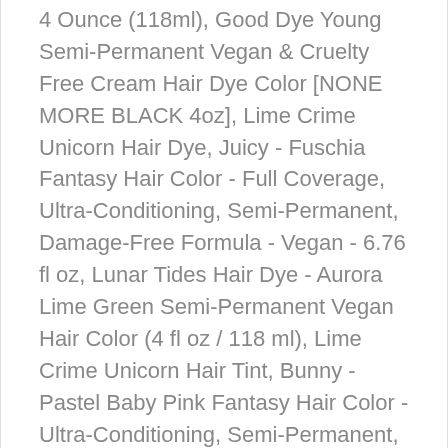4 Ounce (118ml), Good Dye Young Semi-Permanent Vegan & Cruelty Free Cream Hair Dye Color [NONE MORE BLACK 4oz], Lime Crime Unicorn Hair Dye, Juicy - Fuschia Fantasy Hair Color - Full Coverage, Ultra-Conditioning, Semi-Permanent, Damage-Free Formula - Vegan - 6.76 fl oz, Lunar Tides Hair Dye - Aurora Lime Green Semi-Permanent Vegan Hair Color (4 fl oz / 118 ml), Lime Crime Unicorn Hair Tint, Bunny - Pastel Baby Pink Fantasy Hair Color - Ultra-Conditioning, Semi-Permanent, Damage-Free Formula - Vegan - 6.76 fl oz, Special Effects Semi-Permanent Hair Dye 4 Packs, Celeb Luxury Gem Lites Colorwash: Color Depositing Shampoo, dpHUE Gloss+ - Light Blonde, 6.5 oz - Color-Boosting Semi-Permanent Hair Dye & Deep Conditioner - Enhance & Deepen Natural or Color-Treated Hair - Gluten-Free, Vegan, Clairol Root Touch-Up Permanent Hair Color Creme, 8R Medium Reddish Copper Blonde, 1